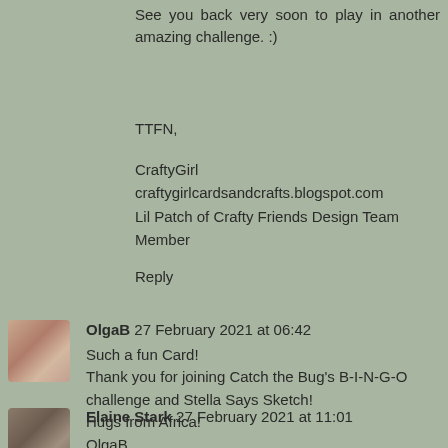See you back very soon to play in another amazing challenge. :)
TTFN,
CraftyGirl
craftygirlcardsandcrafts.blogspot.com
Lil Patch of Crafty Friends Design Team Member
Reply
[Figure (photo): Avatar photo of OlgaB commenter]
OlgaB 27 February 2021 at 06:42
Such a fun Card!
Thank you for joining Catch the Bug's B-I-N-G-O challenge and Stella Says Sketch!
Hugs from Africa!
OlgaB
Reply
[Figure (photo): Avatar photo of Elaine Stark commenter]
Elaine Stark 27 February 2021 at 11:01